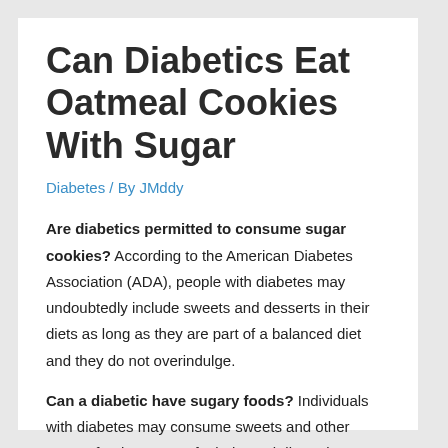Can Diabetics Eat Oatmeal Cookies With Sugar
Diabetes / By JMddy
Are diabetics permitted to consume sugar cookies? According to the American Diabetes Association (ADA), people with diabetes may undoubtedly include sweets and desserts in their diets as long as they are part of a balanced diet and they do not overindulge.
Can a diabetic have sugary foods? Individuals with diabetes may consume sweets and other sugary foods as part of a balanced diet or in conjunction with exercise. However, it is recommended to consume sweets in moderation as an occasional pleasure.